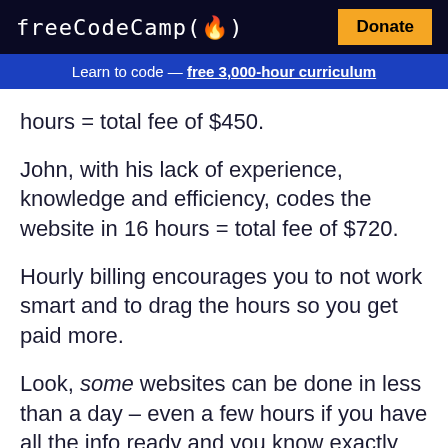freeCodeCamp(🔥) Donate
Learn to code — free 3,000-hour curriculum
hours = total fee of $450.
John, with his lack of experience, knowledge and efficiency, codes the website in 16 hours = total fee of $720.
Hourly billing encourages you to not work smart and to drag the hours so you get paid more.
Look, some websites can be done in less than a day – even a few hours if you have all the info ready and you know exactly what needs to be